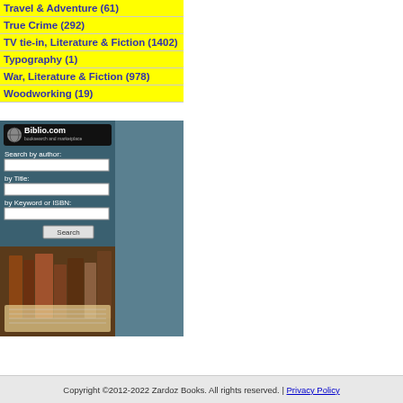Travel & Adventure (61)
True Crime (292)
TV tie-in, Literature & Fiction (1402)
Typography (1)
War, Literature & Fiction (978)
Woodworking (19)
[Figure (screenshot): Biblio.com booksearch and marketplace widget with search fields for author, title, keyword/ISBN and a Search button, with decorative books image below]
Copyright ©2012-2022 Zardoz Books. All rights reserved. | Privacy Policy